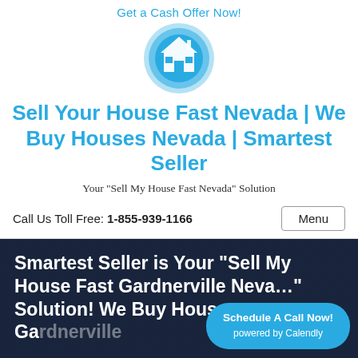Get a Cash Offer Now!
[Figure (logo): Blue circular logo with white house icon — Smartest Seller real estate brand logo]
Sell Your House Fast Nevada | We Buy Houses Nevada | Smartest Seller
Your "Sell My House Fast Nevada" Solution
Call Us Toll Free: 1-855-939-1166
Menu
Smartest Seller is Your “Sell My House Fast Gardnerville Nevada” Solution! We Buy Houses Gardnerville
Schedule A Call Now! powered by Calendly